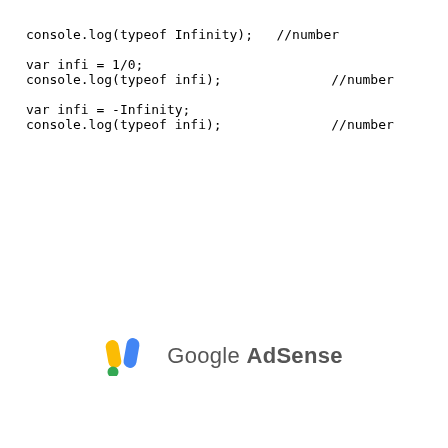console.log(typeof Infinity);   //number

var infi = 1/0;
console.log(typeof infi);              //number

var infi = -Infinity;
console.log(typeof infi);              //number
[Figure (logo): Google AdSense logo with colorful icon (yellow and blue pencil-like shapes, green dot) and the text 'Google AdSense']